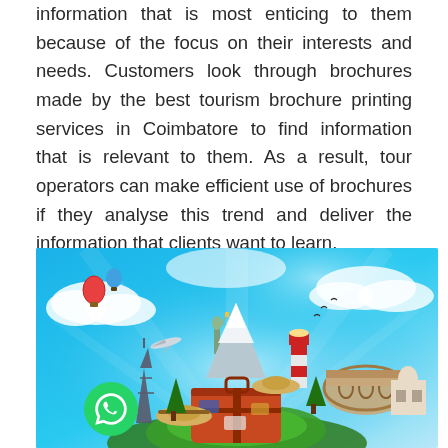information that is most enticing to them because of the focus on their interests and needs. Customers look through brochures made by the best tourism brochure printing services in Coimbatore to find information that is relevant to them. As a result, tour operators can make efficient use of brochures if they analyse this trend and deliver the information that clients want to learn.
[Figure (illustration): Colorful travel-themed collage showing world landmarks (Eiffel Tower, Statue of Liberty, Colosseum, snowy mountain, lighthouse), a large orange suitcase, straw hats, hot air balloons, trees, and a WhatsApp button in the bottom-left corner, all set against a bright blue sky with white clouds.]